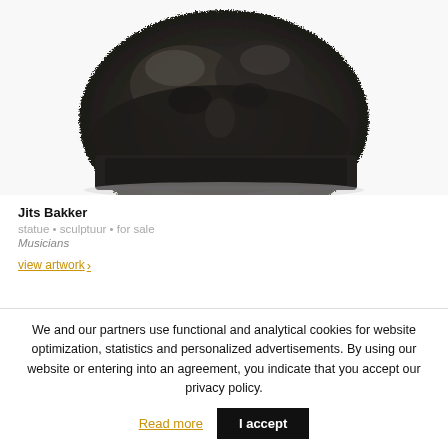[Figure (photo): Close-up photo of a dark bronze sculpture of a head/face, viewed from above, showing textured dark metal surface]
Jits Bakker
statue • sculptuur • for sale
Musicians
view artwork ›
We and our partners use functional and analytical cookies for website optimization, statistics and personalized advertisements. By using our website or entering into an agreement, you indicate that you accept our privacy policy.
Read more
I accept